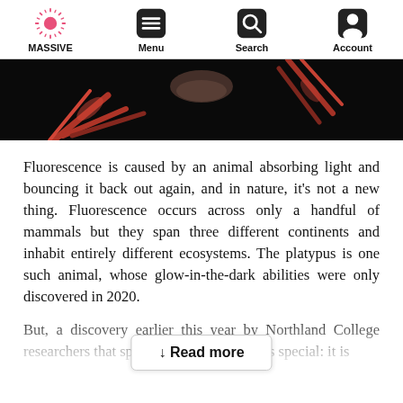MASSIVE | Menu | Search | Account
[Figure (photo): Dark background image showing fluorescent animal limbs with pink/red glow]
Fluorescence is caused by an animal absorbing light and bouncing it back out again, and in nature, it's not a new thing. Fluorescence occurs across only a handful of mammals but they span three different continents and inhabit entirely different ecosystems. The platypus is one such animal, whose glow-in-the-dark abilities were only discovered in 2020.
But, a discovery earlier this year by Northland College researchers that springhare fluorescence is special: it is
↓ Read more